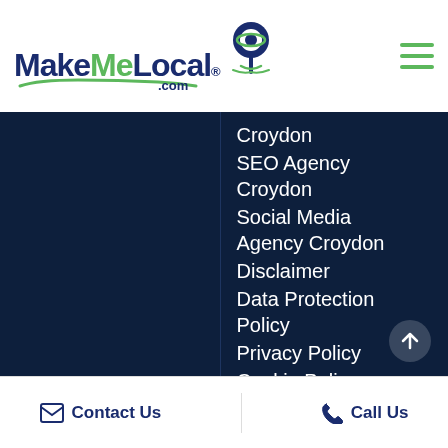[Figure (logo): MakeMeLocal.com logo with green and navy text and location pin icon]
Croydon
SEO Agency Croydon
Social Media Agency Croydon
Disclaimer
Data Protection Policy
Privacy Policy
Cookie Policy
Trading Terms and Conditions
Sitemap
Contact Us   Call Us